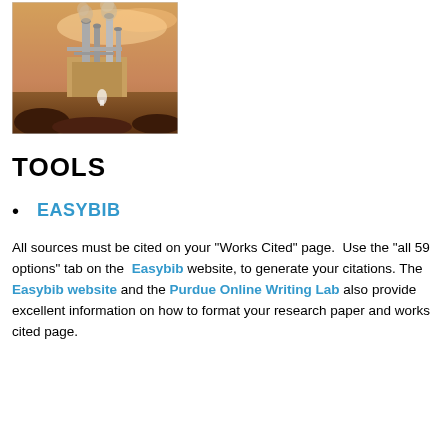[Figure (photo): Industrial facility with large structures, pipes, and smokestacks against a warm sky background.]
TOOLS
EASYBIB
All sources must be cited on your "Works Cited" page.  Use the "all 59 options" tab on the  Easybib website, to generate your citations.  The Easybib website and the Purdue Online Writing Lab also provide excellent information on how to format your research paper and works cited page.